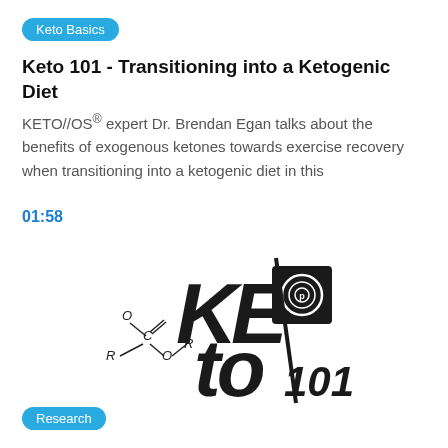Keto Basics
Keto 101 - Transitioning into a Ketogenic Diet
KETO//OS® expert Dr. Brendan Egan talks about the benefits of exogenous ketones towards exercise recovery when transitioning into a ketogenic diet in this
01:58
[Figure (logo): KETO 101 logo with stylized text 'KETO' and '101', a circular Prüvit brand icon, and a chemical ester structure (R-C(=O)-O-R) overlaid]
Research